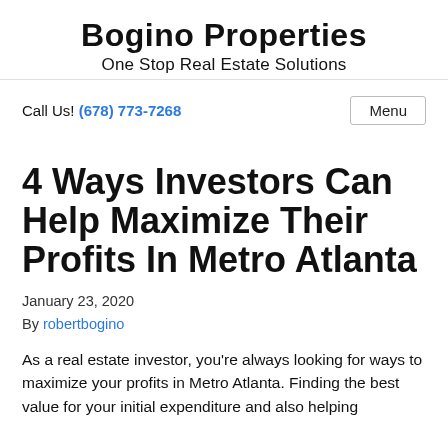Bogino Properties
One Stop Real Estate Solutions
Call Us! (678) 773-7268
Menu
4 Ways Investors Can Help Maximize Their Profits In Metro Atlanta
January 23, 2020
By robertbogino
As a real estate investor, you're always looking for ways to maximize your profits in Metro Atlanta. Finding the best value for your initial expenditure and also helping